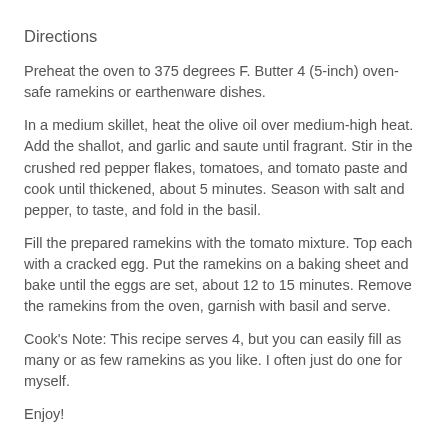Directions
Preheat the oven to 375 degrees F. Butter 4 (5-inch) oven-safe ramekins or earthenware dishes.
In a medium skillet, heat the olive oil over medium-high heat. Add the shallot, and garlic and saute until fragrant. Stir in the crushed red pepper flakes, tomatoes, and tomato paste and cook until thickened, about 5 minutes. Season with salt and pepper, to taste, and fold in the basil.
Fill the prepared ramekins with the tomato mixture. Top each with a cracked egg. Put the ramekins on a baking sheet and bake until the eggs are set, about 12 to 15 minutes. Remove the ramekins from the oven, garnish with basil and serve.
Cook's Note: This recipe serves 4, but you can easily fill as many or as few ramekins as you like. I often just do one for myself.
Enjoy!